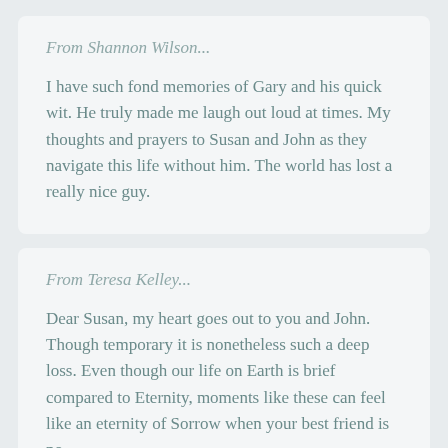From Shannon Wilson...
I have such fond memories of Gary and his quick wit. He truly made me laugh out loud at times. My thoughts and prayers to Susan and John as they navigate this life without him. The world has lost a really nice guy.
From Teresa Kelley...
Dear Susan, my heart goes out to you and John. Though temporary it is nonetheless such a deep loss. Even though our life on Earth is brief compared to Eternity, moments like these can feel like an eternity of Sorrow when your best friend is no